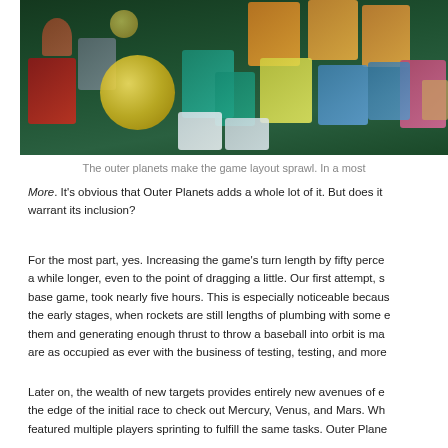[Figure (photo): Overhead photograph of a board game spread out on a table showing planet cards, game tiles in green, orange, red, yellow, blue, and pink colors arranged on a game board with space/rocket theme.]
The outer planets make the game layout sprawl. In a most
More. It's obvious that Outer Planets adds a whole lot of it. But does it warrant its inclusion?
For the most part, yes. Increasing the game's turn length by fifty perce a while longer, even to the point of dragging a little. Our first attempt, s base game, took nearly five hours. This is especially noticeable becaus the early stages, when rockets are still lengths of plumbing with some e them and generating enough thrust to throw a baseball into orbit is ma are as occupied as ever with the business of testing, testing, and more
Later on, the wealth of new targets provides entirely new avenues of e the edge of the initial race to check out Mercury, Venus, and Mars. Wh featured multiple players sprinting to fulfill the same tasks. Outer Plane